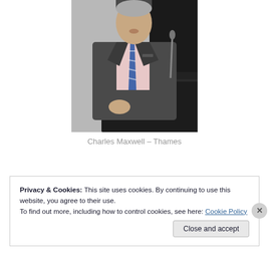[Figure (photo): A man in a dark grey suit with a striped tie and pink shirt, standing at a dark podium/lectern, speaking at an event.]
Charles Maxwell – Thames
Privacy & Cookies: This site uses cookies. By continuing to use this website, you agree to their use.
To find out more, including how to control cookies, see here: Cookie Policy
Close and accept